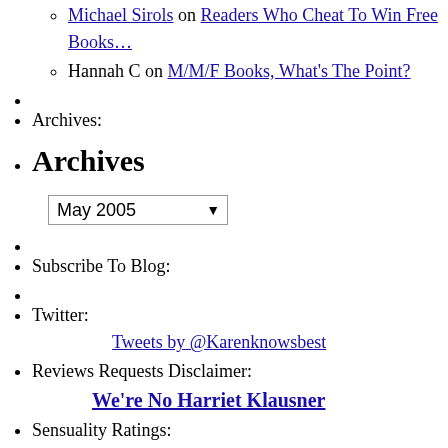Michael Sirois on Readers Who Cheat To Win Free Books…
Hannah C on M/M/F Books, What's The Point?
Archives:
Archives (heading)
May 2005 (dropdown)
Subscribe To Blog:
Twitter:
Tweets by @Karenknowsbest
Reviews Requests Disclaimer:
We're No Harriet Klausner
Sensuality Ratings: KKB Sensuality Ratings
Karen's Must Read Blogs:
Dear Author
Mrs Giggles